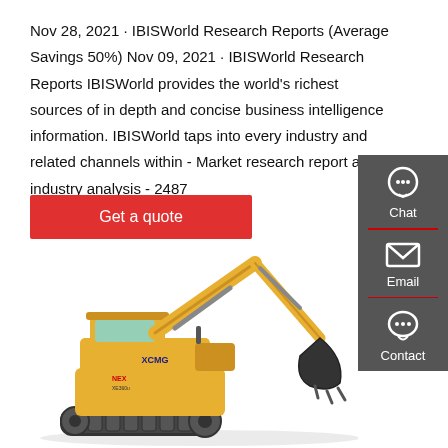Nov 28, 2021 · IBISWorld Research Reports (Average Savings 50%) Nov 09, 2021 · IBISWorld Research Reports IBISWorld provides the world's richest sources of in depth and concise business intelligence information. IBISWorld taps into every industry and related channels within - Market research report and industry analysis - 2487
Get a quote
[Figure (infographic): Dark grey sidebar panel on right with three vertically stacked items: Chat (headset icon), Email (envelope icon), Contact (speech bubble icon), each separated by a red divider line.]
[Figure (photo): Yellow XCMG brand excavator/construction machine on white background, showing the arm, bucket, cab, and tracks.]